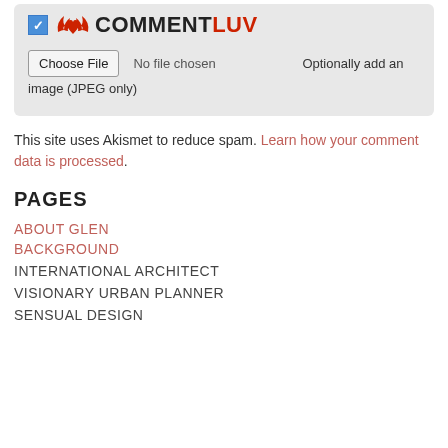[Figure (screenshot): CommentLuv plugin panel with checkbox, logo, and Choose File input for JPEG image upload]
This site uses Akismet to reduce spam. Learn how your comment data is processed.
PAGES
ABOUT GLEN
BACKGROUND
INTERNATIONAL ARCHITECT
VISIONARY URBAN PLANNER
SENSUAL DESIGN